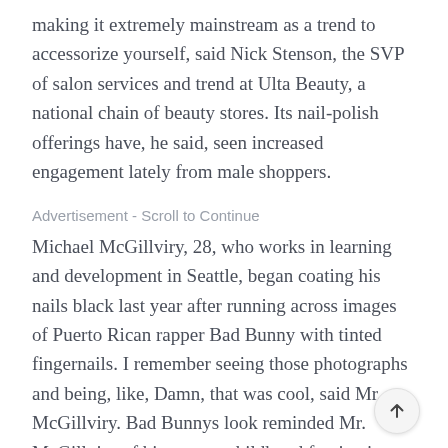making it extremely mainstream as a trend to accessorize yourself, said Nick Stenson, the SVP of salon services and trend at Ulta Beauty, a national chain of beauty stores. Its nail-polish offerings have, he said, seen increased engagement lately from male shoppers.
Advertisement - Scroll to Continue
Michael McGillviry, 28, who works in learning and development in Seattle, began coating his nails black last year after running across images of Puerto Rican rapper Bad Bunny with tinted fingernails. I remember seeing those photographs and being, like, Damn, that was cool, said Mr. McGillviry. Bad Bunnys look reminded Mr. McGillviry of his uneasy childhood fascination with the black nails Carson Daly once sported as an MTV host. Growing up in a conservative-ish area, Mr. McGillviry recalls, he viewed